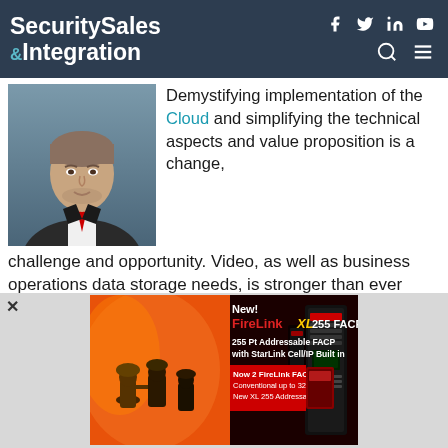Security Sales & Integration
[Figure (photo): Headshot of a middle-aged man in a suit with a red tie, professional portrait photo]
Demystifying implementation of the Cloud and simplifying the technical aspects and value proposition is a change, challenge and opportunity. Video, as well as business operations data storage needs, is stronger than ever before, especially concerning cybersecurity hacks and ransomware threats that compromise operational capabilities. This vector has greater focus and weight
[Figure (photo): Advertisement for FireLink XL 255 FACP showing firefighters in background with product image. Text: New! FireLink XL 255 FACP, 255 Pt Addressable FACP with StarLink Cell/IP Built in, Now 2 FireLink FACPs: Conventional up to 32Pts & New XL 255 Addressable Pts.]